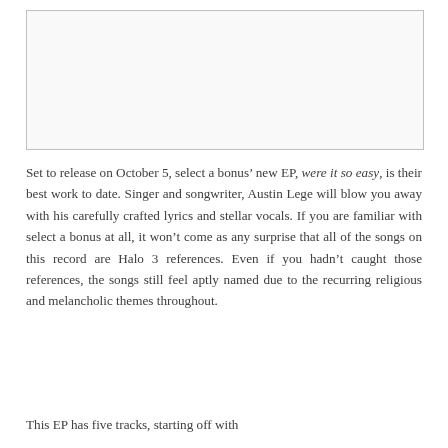[Figure (other): Blank white image placeholder box with light border]
Set to release on October 5, select a bonus’ new EP, were it so easy, is their best work to date. Singer and songwriter, Austin Lege will blow you away with his carefully crafted lyrics and stellar vocals. If you are familiar with select a bonus at all, it won’t come as any surprise that all of the songs on this record are Halo 3 references. Even if you hadn’t caught those references, the songs still feel aptly named due to the recurring religious and melancholic themes throughout.
This EP has five tracks, starting off with